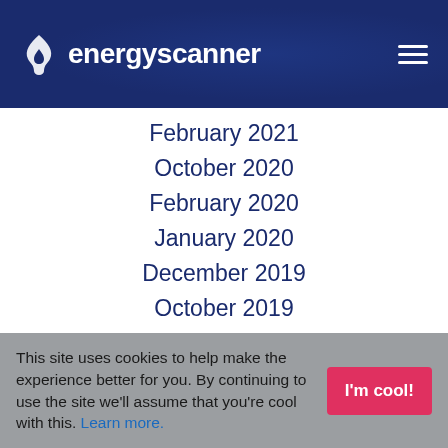energyscanner
February 2021
October 2020
February 2020
January 2020
December 2019
October 2019
August 2019
July 2019
April 2019
This site uses cookies to help make the experience better for you. By continuing to use the site we'll assume that you're cool with this. Learn more.